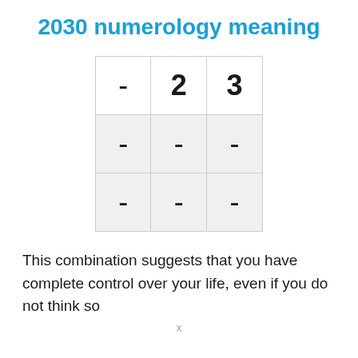2030 numerology meaning
[Figure (table-as-image): 3x3 grid with dash placeholders. Top row: dash, 2, 3. Middle row: dash, dash, dash. Bottom row: dash, dash, dash.]
This combination suggests that you have complete control over your life, even if you do not think so